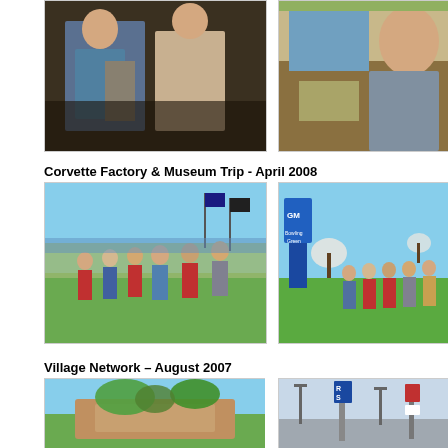[Figure (photo): Two people standing indoors in dim lighting, one in blue shirt]
[Figure (photo): Person eating at a table with food and drinks]
Corvette Factory & Museum Trip - April 2008
[Figure (photo): Group of people posing outdoors near water and flags]
[Figure (photo): Same group posing near GM Bowling Green sign]
Village Network – August 2007
[Figure (photo): Building with trees and blue sky]
[Figure (photo): Street scene with RS sign on pole]